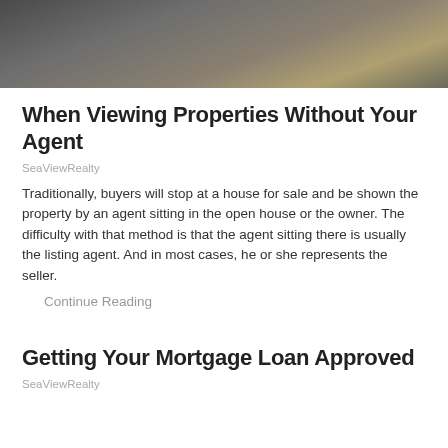[Figure (photo): Interior room photo showing dark furniture and flooring, partial view of a room]
When Viewing Properties Without Your Agent
SeaViewRealty
Traditionally, buyers will stop at a house for sale and be shown the property by an agent sitting in the open house or the owner. The difficulty with that method is that the agent sitting there is usually the listing agent. And in most cases, he or she represents the seller.
Continue Reading
Getting Your Mortgage Loan Approved
SeaViewRealty